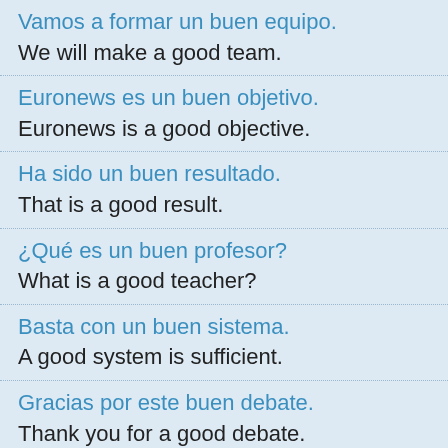Vamos a formar un buen equipo.
We will make a good team.
Euronews es un buen objetivo.
Euronews is a good objective.
Ha sido un buen resultado.
That is a good result.
¿Qué es un buen profesor?
What is a good teacher?
Basta con un buen sistema.
A good system is sufficient.
Gracias por este buen debate.
Thank you for a good debate.